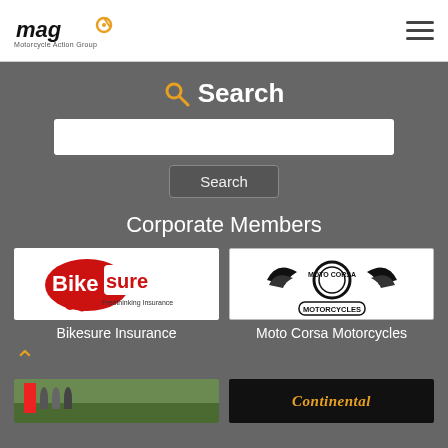MAG Motorcycle Action Group
Search
Search (search input and button)
Corporate Members
[Figure (logo): Bikesure Freethinking Insurance logo — red oval with white text]
Bikesure Insurance
[Figure (logo): Moto Corsa Motorcycles logo — black emblem with wings and gear wheel]
Moto Corsa Motorcycles
[Figure (photo): Group of people outdoors near a red sign]
[Figure (logo): Continental logo in gold/yellow italic text on dark background]